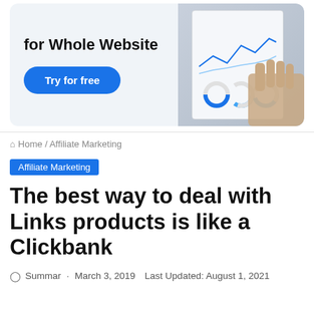[Figure (illustration): Advertisement banner showing 'for Whole Website' text, a blue 'Try for free' button, and a hand holding analytics charts]
Home / Affiliate Marketing
Affiliate Marketing
The best way to deal with Links products is like a Clickbank
Summar · March 3, 2019  Last Updated: August 1, 2021